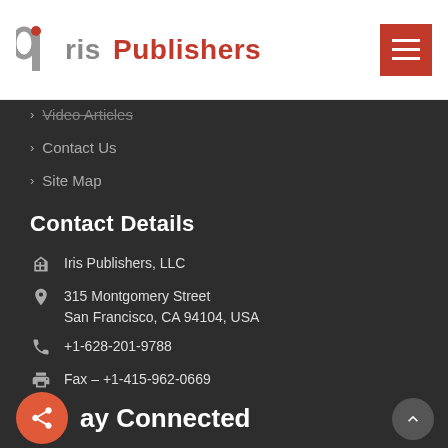Iris Publishers
Video Articles
Contact Us
Site Map
Contact Details
Iris Publishers, LLC
315 Montgomery Street
San Francisco, CA 94104, USA
+1-628-201-9788
Fax – +1-415-962-0669
info@irispublishers.com
Feedback
Stay Connected